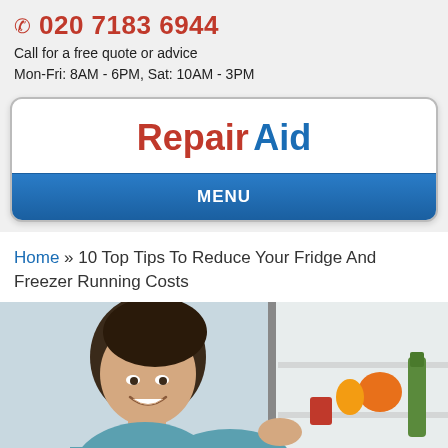☎ 020 7183 6944
Call for a free quote or advice
Mon-Fri: 8AM - 6PM, Sat: 10AM - 3PM
Repair Aid
MENU
Home » 10 Top Tips To Reduce Your Fridge And Freezer Running Costs
[Figure (photo): Woman smiling and looking over shoulder while organizing food items in an open refrigerator]